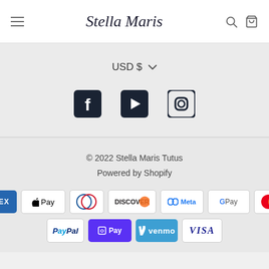Stella Maris
USD $ ▾
[Figure (illustration): Facebook, YouTube, and Instagram social media icons]
© 2022 Stella Maris Tutus
Powered by Shopify
[Figure (illustration): Payment method badges: American Express, Apple Pay, Diners Club, Discover, Meta Pay, Google Pay, Mastercard, PayPal, Shop Pay, Venmo, Visa]